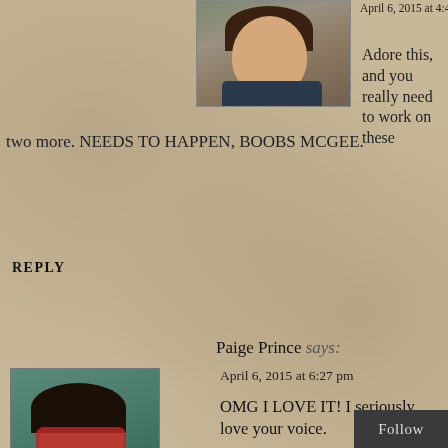[Figure (photo): Avatar photo of a woman with dark hair, smiling]
April 6, 2015 at 4:45 pm
Adore this, and you really need to work on these two more. NEEDS TO HAPPEN, BOOBS MCGEE.
REPLY
Paige Prince says:
[Figure (photo): Avatar photo of a person wearing red sunglasses and a teal shirt]
April 6, 2015 at 6:27 pm
OMG I LOVE IT! I seriously love your voice. And how awesome is it that we both wrote about vampires? Great minds and all. 🙂
Follow